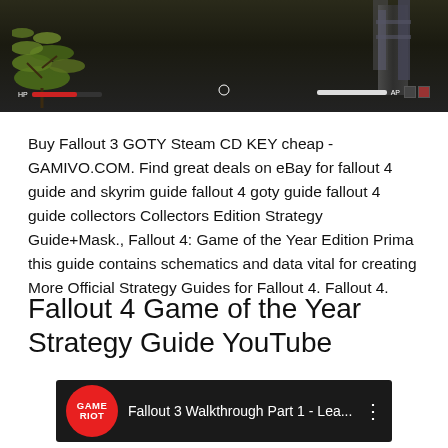[Figure (screenshot): Fallout 3 gameplay screenshot showing a post-apocalyptic environment with foliage on the left, metal structures on the right, and HUD elements including HP bar, crosshair, and AP bar at the bottom.]
Buy Fallout 3 GOTY Steam CD KEY cheap - GAMIVO.COM. Find great deals on eBay for fallout 4 guide and skyrim guide fallout 4 goty guide fallout 4 guide collectors Collectors Edition Strategy Guide+Mask., Fallout 4: Game of the Year Edition Prima this guide contains schematics and data vital for creating More Official Strategy Guides for Fallout 4. Fallout 4.
Fallout 4 Game of the Year Strategy Guide YouTube
[Figure (screenshot): YouTube video thumbnail showing Game Riot logo (red circle with GAME RIOT text) and video title 'Fallout 3 Walkthrough Part 1 - Lea...' with three-dot menu icon on dark background.]